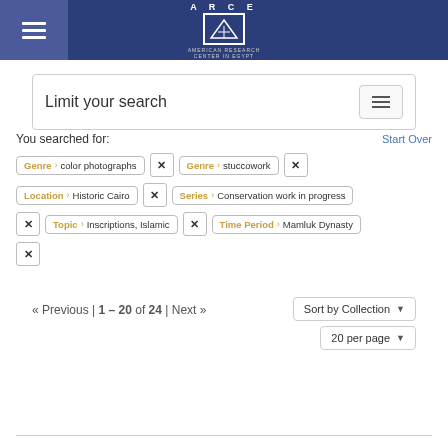[Figure (logo): ARCE American Research Center in Egypt logo with hamburger menu on dark blue header]
Limit your search
You searched for:
Start Over
Genre > color photographs
Genre > stuccowork
Location > Historic Cairo
Series > Conservation work in progress
Topic > Inscriptions, Islamic
Time Period > Mamluk Dynasty
« Previous | 1 – 20 of 24 | Next »
Sort by Collection
20 per page